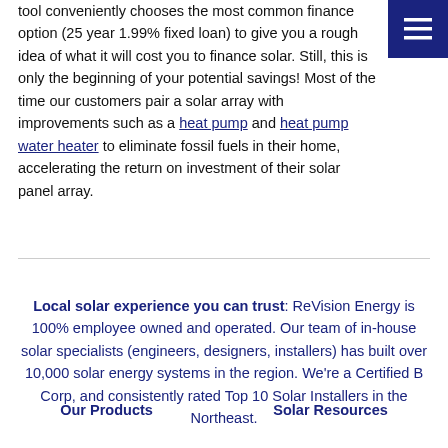tool conveniently chooses the most common finance option (25 year 1.99% fixed loan) to give you a rough idea of what it will cost you to finance solar. Still, this is only the beginning of your potential savings! Most of the time our customers pair a solar array with improvements such as a heat pump and heat pump water heater to eliminate fossil fuels in their home, accelerating the return on investment of their solar panel array.
Local solar experience you can trust: ReVision Energy is 100% employee owned and operated. Our team of in-house solar specialists (engineers, designers, installers) has built over 10,000 solar energy systems in the region. We're a Certified B Corp, and consistently rated Top 10 Solar Installers in the Northeast.
Our Products
Solar Resources